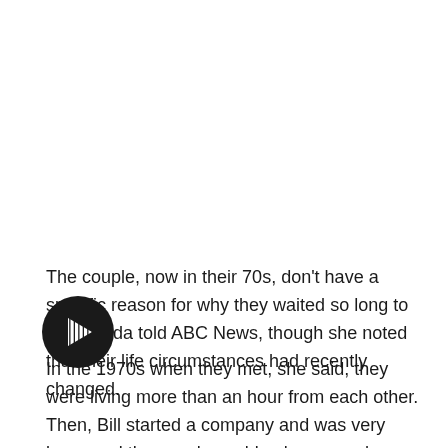The couple, now in their 70s, don't have a specific reason for why they waited so long to wed, Linda told ABC News, though she noted that their life circumstances had recently changed.
[Figure (other): A circular black play button icon with white forward/play arrow stripes, overlaid on the text block.]
In the 1970s when they met, she said, they were living more than an hour from each other. Then, Bill started a company and was very busy, and the couple could only see each other on weekends. Marriage wasn't at the top of Bill and Linda's minds